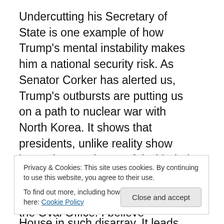Undercutting his Secretary of State is one example of how Trump's mental instability makes him a national security risk. As Senator Corker has alerted us, Trump's outbursts are putting us on a path to nuclear war with North Korea. It shows that presidents, unlike reality show hosts, have to be careful with their words, especially when it contradicts the efforts of their own staff. It is why we have a White House in such disarray. It leads many, including Secretary Tillerson, to come to the conclusion that Trump is stupid. Trump has shown himself be ignorant and arrogant. He believes he knows more that everyone else and doesn't
Privacy & Cookies: This site uses cookies. By continuing to use this website, you agree to their use.
To find out more, including how to control cookies, see here: Cookie Policy
the classified briefing papers in the Oval Office. I believe